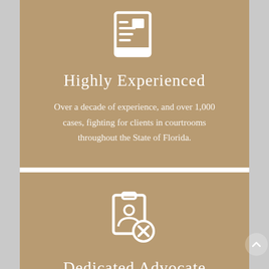[Figure (illustration): White icon of a document/clipboard with lines and a small rectangle, representing legal records or case files]
Highly Experienced
Over a decade of experience, and over 1,000 cases, fighting for clients in courtrooms throughout the State of Florida.
[Figure (illustration): White icon of an ID badge/clipboard with a person silhouette and a circular X mark, representing case dismissal or client advocacy]
Dedicated Advocate
Whether in a court or on the phone at